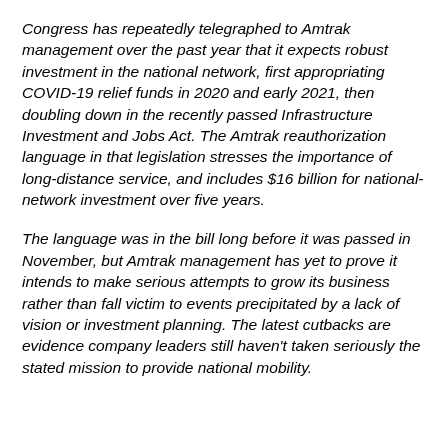Congress has repeatedly telegraphed to Amtrak management over the past year that it expects robust investment in the national network, first appropriating COVID-19 relief funds in 2020 and early 2021, then doubling down in the recently passed Infrastructure Investment and Jobs Act. The Amtrak reauthorization language in that legislation stresses the importance of long-distance service, and includes $16 billion for national-network investment over five years.
The language was in the bill long before it was passed in November, but Amtrak management has yet to prove it intends to make serious attempts to grow its business rather than fall victim to events precipitated by a lack of vision or investment planning. The latest cutbacks are evidence company leaders still haven't taken seriously the stated mission to provide national mobility.